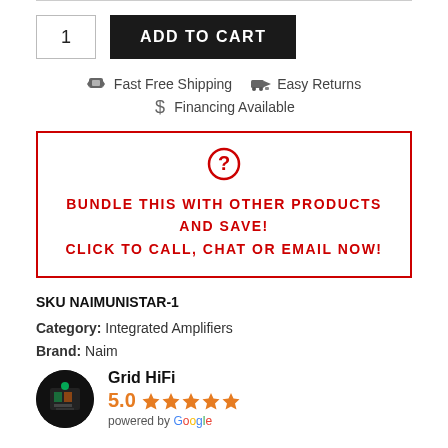[Figure (other): Add to cart UI with quantity box showing '1' and black 'ADD TO CART' button]
Fast Free Shipping   Easy Returns   Financing Available
[Figure (infographic): Red bordered box with red question mark circle icon and red uppercase text: BUNDLE THIS WITH OTHER PRODUCTS AND SAVE! CLICK TO CALL, CHAT OR EMAIL NOW!]
SKU NAIMUNISTAR-1
Category: Integrated Amplifiers
Brand: Naim
[Figure (logo): Grid HiFi logo: circular dark image of store, with store name 'Grid HiFi', rating 5.0 with 5 orange stars, powered by Google]